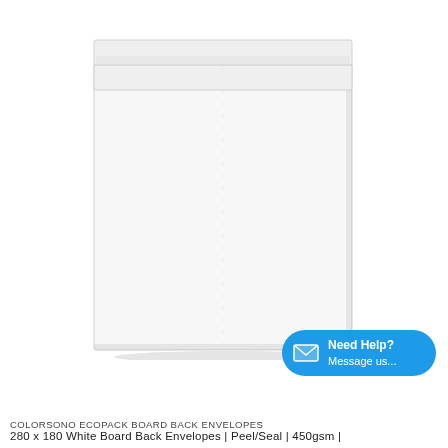[Figure (photo): A white board-back envelope with a peel/seal flap at the top, viewed from the front. The envelope is white, rectangular, portrait orientation, with a fold-over flap at the top edge. Slight shadow at bottom right corner.]
[Figure (illustration): A blue oval/pill-shaped Need Help button with an envelope icon on the left and the text 'Need Help? Message us...' in white on the right.]
COLORSONO ECOPACK BOARD BACK ENVELOPES
280 x 180 White Board Back Envelopes | Peel/Seal | 450gsm |